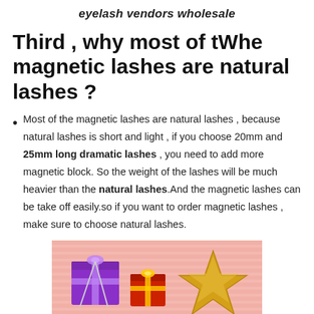eyelash vendors wholesale
Third , why most of tWhe magnetic lashes are natural lashes ?
Most of the magnetic lashes are natural lashes , because natural lashes is short and light , if you choose 20mm and 25mm long dramatic lashes , you need to add more magnetic block. So the weight of the lashes will be much heavier than the natural lashes.And the magnetic lashes can be take off easily.so if you want to order magnetic lashes , make sure to choose natural lashes.
[Figure (photo): Photo of colorful gift boxes (purple and red) with ribbons and a gold glitter star on a pink striped background]